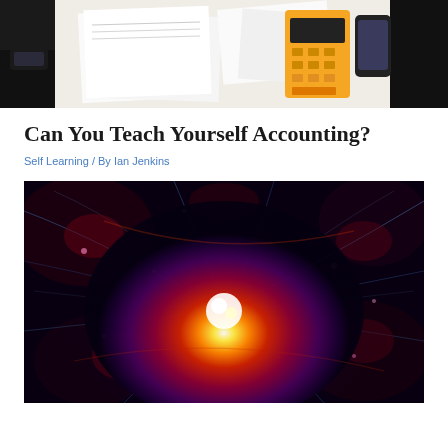[Figure (photo): Overhead view of a person in black clothing working at a desk with papers, a calculator, and a smartphone]
Can You Teach Yourself Accounting?
Self Learning / By Ian Jenkins
[Figure (photo): Abstract cosmic or energy burst image with vivid orange, red, yellow, pink, and blue hues resembling a nebula or neural network visualization]